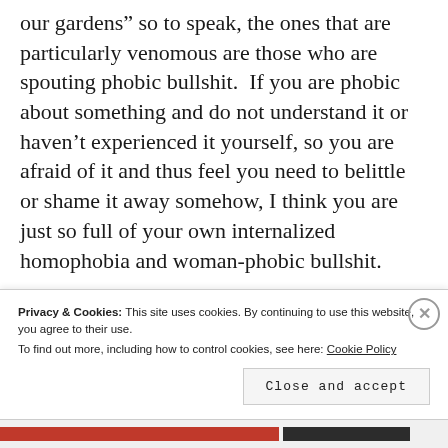our gardens” so to speak, the ones that are particularly venomous are those who are spouting phobic bullshit.  If you are phobic about something and do not understand it or haven’t experienced it yourself, so you are afraid of it and thus feel you need to belittle or shame it away somehow, I think you are just so full of your own internalized homophobia and woman-phobic bullshit.
Privacy & Cookies: This site uses cookies. By continuing to use this website, you agree to their use.
To find out more, including how to control cookies, see here: Cookie Policy
Close and accept